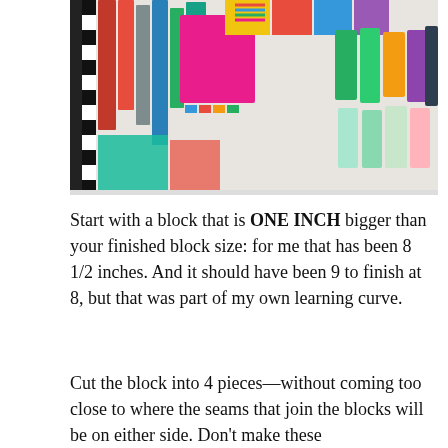[Figure (photo): Photo of colorful fabric swatches and quilt blocks hung on a white wall, showing various bright colors including pink, red, blue, green, yellow, and multicolored pieces arranged in rows.]
Start with a block that is ONE INCH bigger than your finished block size: for me that has been 8 1/2 inches. And it should have been 9 to finish at 8, but that was part of my own learning curve.
Cut the block into 4 pieces—without coming too close to where the seams that join the blocks will be on either side. Don't make these